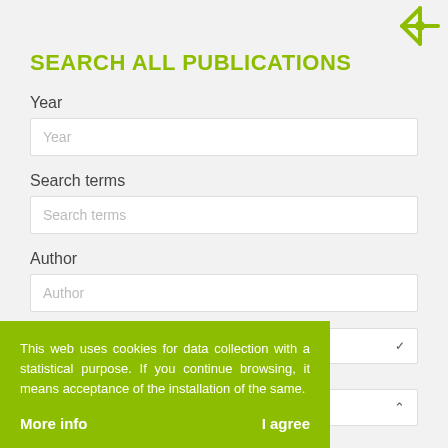[Figure (logo): Green asterisk/star icon in top-right corner]
SEARCH ALL PUBLICATIONS
Year
Year (placeholder)
Search terms
Search terms (placeholder)
Author
Author (placeholder)
Sort by
This web uses cookies for data collection with a statistical purpose. If you continue browsing, it means acceptance of the installation of the same.
More info
I agree